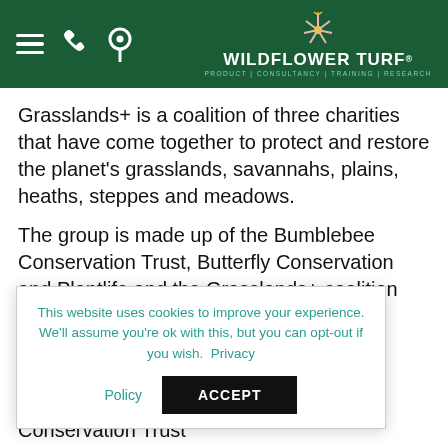WILDFLOWER TURF | PRODUCT | CONSULTANCY | TRAINING | RESEARCH
Grasslands+ is a coalition of three charities that have come together to protect and restore the planet's grasslands, savannahs, plains, heaths, steppes and meadows.
The group is made up of the Bumblebee Conservation Trust, Butterfly Conservation and Plantlife and the Grasslands+ coalition aims to show the public and p... on an i... st climate c... s...
This website uses cookies to improve your experience. We'll assume you're ok with this, but you can opt-out if you wish. Privacy Policy
Established in 2006, the Bumblebee Conservation Trust